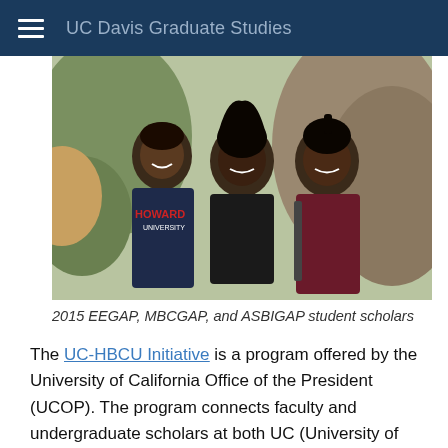UC Davis Graduate Studies
[Figure (photo): Three students posing outdoors. The person on the left wears a Howard University sweatshirt. They are smiling and standing close together with rocky terrain in the background.]
2015 EEGAP, MBCGAP, and ASBIGAP student scholars
The UC-HBCU Initiative is a program offered by the University of California Office of the President (UCOP). The program connects faculty and undergraduate scholars at both UC (University of California) and HBCU (Historically Black Colleges and Universities) campuses. Through faculty-guided summer programs, undergraduates learn how to conduct research and develop professional skills and knowledge of graduate